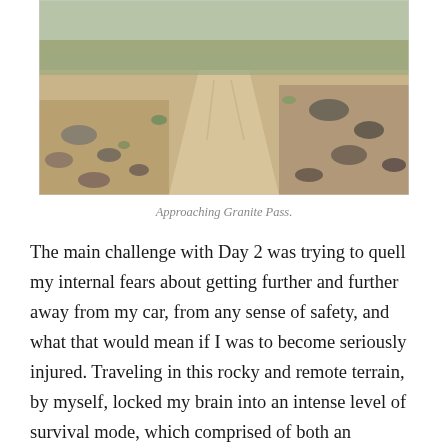[Figure (photo): A dusty rocky mountain trail approaching Granite Pass, with sandy ground, scattered rocks, sparse green vegetation, and the path winding into the distance under a clear sky.]
Approaching Granite Pass.
The main challenge with Day 2 was trying to quell my internal fears about getting further and further away from my car, from any sense of safety, and what that would mean if I was to become seriously injured. Traveling in this rocky and remote terrain, by myself, locked my brain into an intense level of survival mode, which comprised of both an overwhelming awareness of how every single step needed to be careful and solid